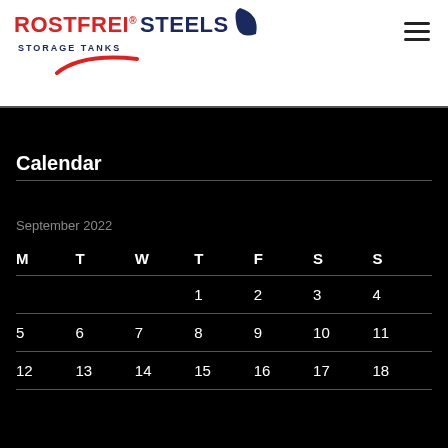[Figure (logo): Rostfrei Steels Storage Tanks logo with red text 'ROSTFREI', dark blue 'STEELS', subtitle 'STORAGE TANKS', and a red swoosh graphic]
Calendar
September 2022
| M | T | W | T | F | S | S |
| --- | --- | --- | --- | --- | --- | --- |
|  |  |  | 1 | 2 | 3 | 4 |
| 5 | 6 | 7 | 8 | 9 | 10 | 11 |
| 12 | 13 | 14 | 15 | 16 | 17 | 18 |